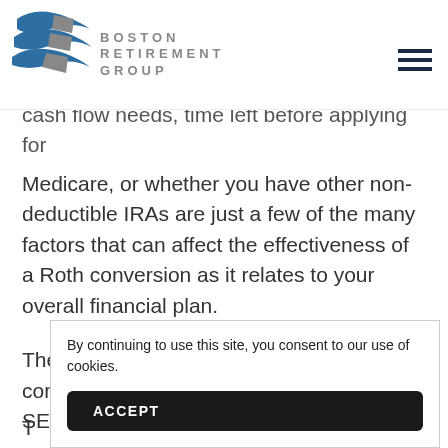[Figure (logo): Boston Retirement Group logo with blue wave/swoosh graphic and gray lettered text BOSTON RETIREMENT GROUP]
cash flow needs, time left before applying for Medicare, or whether you have other non-deductible IRAs are just a few of the many factors that can affect the effectiveness of a Roth conversion as it relates to your overall financial plan.
The current market conditions in combination with changes made by the SECURE and CARES Acts
By continuing to use this site, you consent to our use of cookies.
ACCEPT